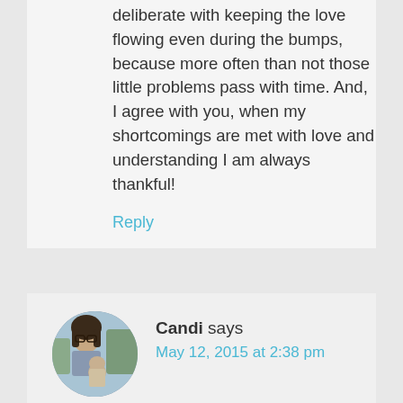deliberate with keeping the love flowing even during the bumps, because more often than not those little problems pass with time. And, I agree with you, when my shortcomings are met with love and understanding I am always thankful!
Reply
Candi says
May 12, 2015 at 2:38 pm
[Figure (photo): Avatar photo of Candi, a woman with glasses holding a child]
Love this article and have thought about it many times some it was written! What is your little boys consequence? Always looking for ideas!